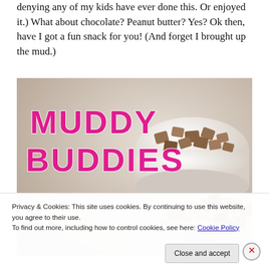denying any of my kids have ever done this. Or enjoyed it.) What about chocolate? Peanut butter? Yes? Ok then, have I got a fun snack for you! (And forget I brought up the mud.)
[Figure (photo): Photo of Muddy Buddies snack - chocolate peanut butter Chex mix in a white bowl, with decorative pink text reading MUDDY BUDDIES overlaid on the image]
Privacy & Cookies: This site uses cookies. By continuing to use this website, you agree to their use.
To find out more, including how to control cookies, see here: Cookie Policy